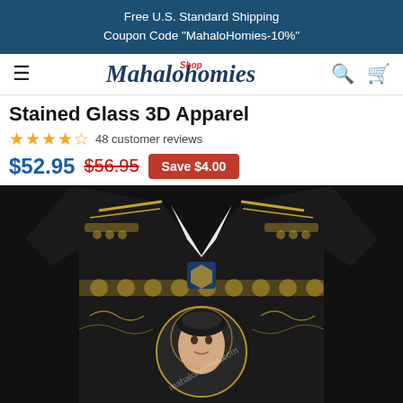Free U.S. Standard Shipping
Coupon Code "MahaloHomies-10%"
[Figure (logo): MahaloHomies Shop logo with hamburger menu icon on the left and search/cart icons on the right]
Stained Glass 3D Apparel
★★★★½ 48 customer reviews
$52.95  $56.95  Save $4.00
[Figure (photo): A black Hawaiian shirt with gold ornate stained glass pattern and a woman's portrait printed in the center, photographed from the front upper body view. Watermark reads mahalohomies.com]